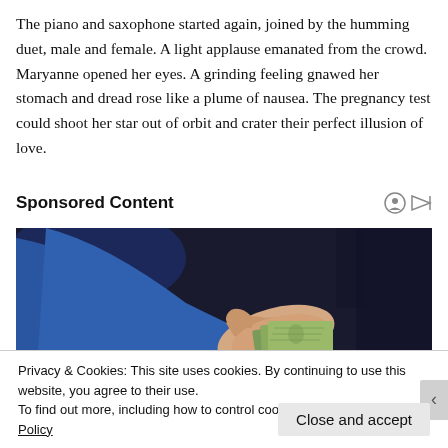The piano and saxophone started again, joined by the humming duet, male and female. A light applause emanated from the crowd. Maryanne opened her eyes. A grinding feeling gnawed her stomach and dread rose like a plume of nausea. The pregnancy test could shoot her star out of orbit and crater their perfect illusion of love.
Sponsored Content
[Figure (photo): A hand holding dollar bills/money against a dark background, person wearing blue jacket sleeve]
Privacy & Cookies: This site uses cookies. By continuing to use this website, you agree to their use.
To find out more, including how to control cookies, see here: Cookie Policy